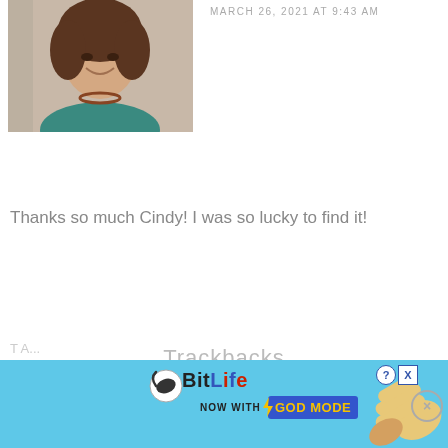[Figure (photo): Profile photo of a smiling woman with brown hair, wearing a teal top and beaded necklace]
MARCH 26, 2021 AT 9:43 AM
Thanks so much Cindy! I was so lucky to find it!
Reply
Trackbacks
[Figure (illustration): BitLife advertisement banner with 'NOW WITH GOD MODE' text on a blue background with hand/lightning graphic]